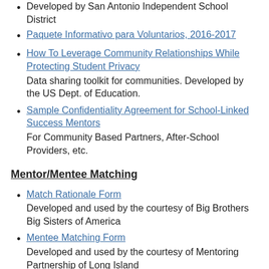Developed by San Antonio Independent School District
Paquete Informativo para Voluntarios, 2016-2017
How To Leverage Community Relationships While Protecting Student Privacy
Data sharing toolkit for communities. Developed by the US Dept. of Education.
Sample Confidentiality Agreement for School-Linked Success Mentors
For Community Based Partners, After-School Providers, etc.
Mentor/Mentee Matching
Match Rationale Form
Developed and used by the courtesy of Big Brothers Big Sisters of America
Mentee Matching Form
Developed and used by the courtesy of Mentoring Partnership of Long Island